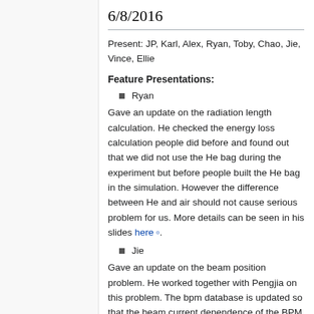6/8/2016
Present: JP, Karl, Alex, Ryan, Toby, Chao, Jie, Vince, Ellie
Feature Presentations:
Ryan
Gave an update on the radiation length calculation. He checked the energy loss calculation people did before and found out that we did not use the He bag during the experiment but before people built the He bag in the simulation. However the difference between He and air should not cause serious problem for us. More details can be seen in his slides here.
Jie
Gave an update on the beam position problem. He worked together with Pengjia on this problem. The bpm database is updated so that the beam current dependence of the BPM is removed. Another problem is that the reported beam position would jump suddenly within the